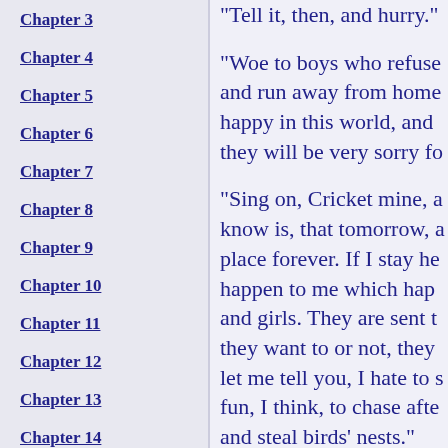Chapter 3
Chapter 4
Chapter 5
Chapter 6
Chapter 7
Chapter 8
Chapter 9
Chapter 10
Chapter 11
Chapter 12
Chapter 13
Chapter 14
"Tell it, then, and hurry."
"Woe to boys who refuse and run away from home happy in this world, and they will be very sorry fo
"Sing on, Cricket mine, a know is, that tomorrow, a place forever. If I stay he happen to me which hap and girls. They are sent t they want to or not, they let me tell you, I hate to s fun, I think, to chase afte and steal birds' nests."
"Poor little silly! Don't yo like that, you will grow in that you'll be the laughin
"Keep still, you ugly Cric